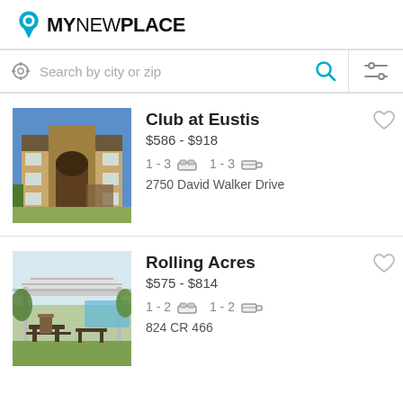[Figure (logo): MyNewPlace logo with teal location pin icon and bold sans-serif text]
[Figure (screenshot): Search bar with location icon, 'Search by city or zip' placeholder, teal search icon, and filter sliders icon]
[Figure (photo): Apartment building exterior photo - tan brick multi-story building with covered entrance]
Club at Eustis
$586 - $918
1 - 3 [bed] 1 - 3 [bath]
2750 David Walker Drive
[Figure (photo): Apartment community outdoor area photo - covered pergola structure with picnic tables and greenery]
Rolling Acres
$575 - $814
1 - 2 [bed] 1 - 2 [bath]
824 CR 466